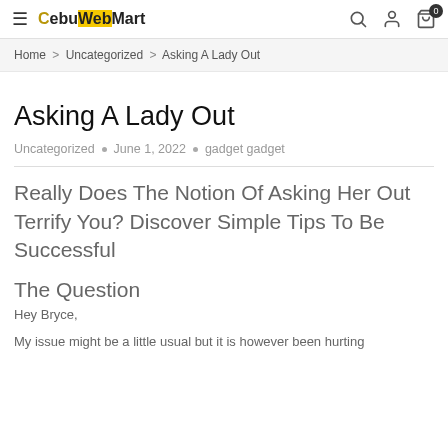≡ CebuWebMart [search] [user] [cart 0]
Home > Uncategorized > Asking A Lady Out
Asking A Lady Out
Uncategorized • June 1, 2022 • gadget gadget
Really Does The Notion Of Asking Her Out Terrify You? Discover Simple Tips To Be Successful
The Question
Hey Bryce,
My issue might be a little usual but it is however been hurting